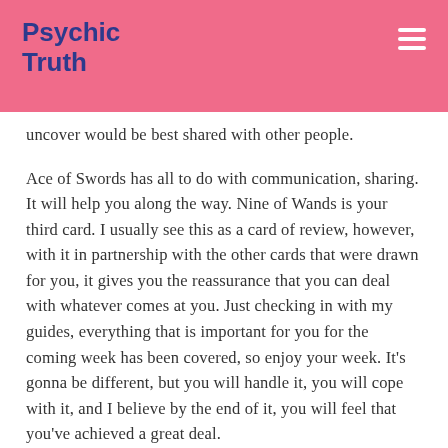Psychic Truth
uncover would be best shared with other people.
Ace of Swords has all to do with communication, sharing. It will help you along the way. Nine of Wands is your third card. I usually see this as a card of review, however, with it in partnership with the other cards that were drawn for you, it gives you the reassurance that you can deal with whatever comes at you. Just checking in with my guides, everything that is important for you for the coming week has been covered, so enjoy your week. It’s gonna be different, but you will handle it, you will cope with it, and I believe by the end of it, you will feel that you’ve achieved a great deal.